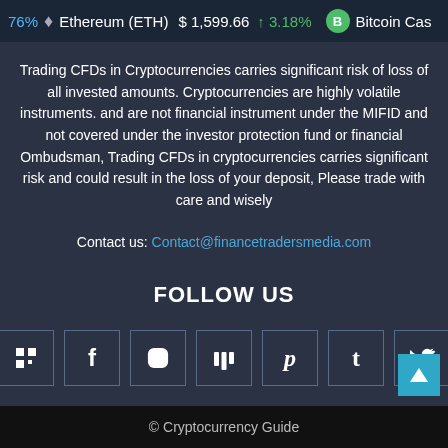76%  Ethereum (ETH)  $ 1,599.66  ↑3.18%  Bitcoin Cas
Trading CFDs in Cryptocurrencies carries significant risk of loss of all invested amounts. Cryptocurrencies are highly volatile instruments. and are not financial instrument under the MIFID and not covered under the investor protection fund or financial Ombudsman, Trading CFDs in cryptocurrencies carries significant risk and could result in the loss of your deposit, Please trade with care and wisely
Contact us: Contact@financetradersmedia.com
FOLLOW US
[Figure (infographic): Row of 7 social media icon boxes: Snapchat/pixel icon, Facebook (f), Instagram, Mix (m), Pinterest (p), Tumblr (t), Twitter bird]
© Cryptocurrency Guide